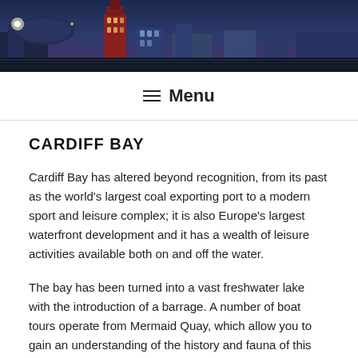[Figure (photo): Panoramic cityscape of Cardiff Bay at dusk/night showing illuminated buildings including a distinctive red brick tower and modern stadium under a blue-purple sky]
≡ Menu
CARDIFF BAY
Cardiff Bay has altered beyond recognition, from its past as the world's largest coal exporting port to a modern sport and leisure complex; it is also Europe's largest waterfront development and it has a wealth of leisure activities available both on and off the water.
The bay has been turned into a vast freshwater lake with the introduction of a barrage. A number of boat tours operate from Mermaid Quay, which allow you to gain an understanding of the history and fauna of this exciting area. Cardiff Waterbus has introduced a new taxi service